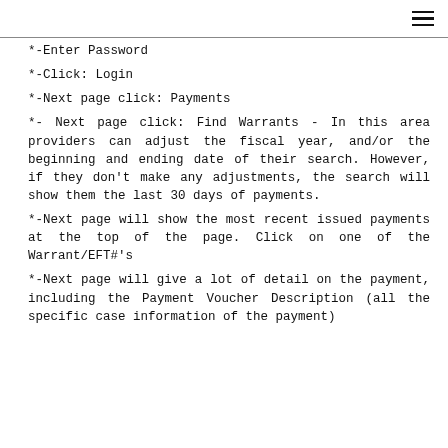☰
*-Enter Password
*-Click: Login
*-Next page click: Payments
*- Next page click: Find Warrants - In this area providers can adjust the fiscal year, and/or the beginning and ending date of their search. However, if they don't make any adjustments, the search will show them the last 30 days of payments.
*-Next page will show the most recent issued payments at the top of the page. Click on one of the Warrant/EFT#'s
*-Next page will give a lot of detail on the payment, including the Payment Voucher Description (all the specific case information of the payment)